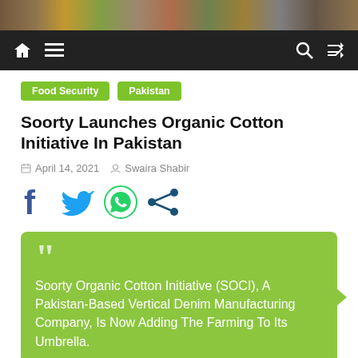[Figure (photo): Top banner image showing historical architecture/ruins with colorful overlay]
Navigation bar with home icon, menu icon, search icon, and shuffle icon on dark background
Food Security   Pakistan
Soorty Launches Organic Cotton Initiative In Pakistan
April 14, 2021   Swaira Shabir
[Figure (infographic): Social sharing icons: Facebook, Twitter, WhatsApp, Share]
Soorty Organic Cotton Initiative (SOCI), A Pakistan-Based Vertical Denim Manufacturing Company, Is Now Adding The Farming To Its Umbrella.